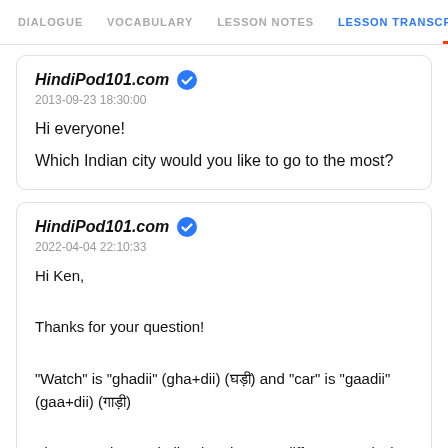DIALOGUE  VOCABULARY  LESSON NOTES  LESSON TRANSCRIPT  C
HindiPod101.com ✔
2013-09-23 18:30:00

Hi everyone!

Which Indian city would you like to go to the most?
HindiPod101.com ✔
2022-04-04 22:10:33

Hi Ken,

Thanks for your question!

"Watch" is "ghadii" (gha+dii) (घड़ी) and "car" is "gaadii" (gaa+dii) (गाड़ी)

They sound very similar, but they are different words :)